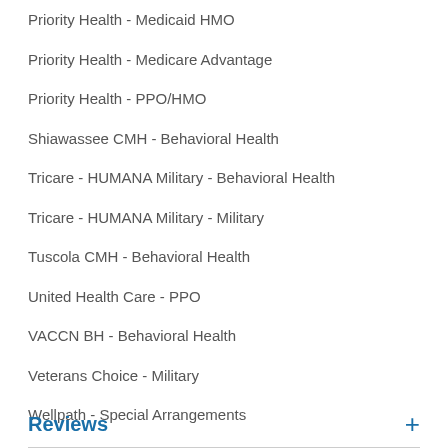Priority Health - Medicaid HMO
Priority Health - Medicare Advantage
Priority Health - PPO/HMO
Shiawassee CMH - Behavioral Health
Tricare - HUMANA Military - Behavioral Health
Tricare - HUMANA Military - Military
Tuscola CMH - Behavioral Health
United Health Care - PPO
VACCN BH - Behavioral Health
Veterans Choice - Military
Wellpath - Special Arrangements
Reviews